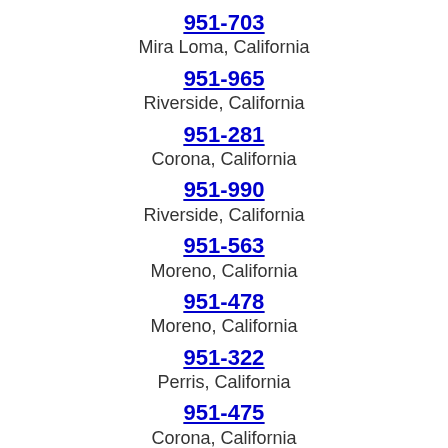951-703
Mira Loma, California
951-965
Riverside, California
951-281
Corona, California
951-990
Riverside, California
951-563
Moreno, California
951-478
Moreno, California
951-322
Perris, California
951-475
Corona, California
951-797